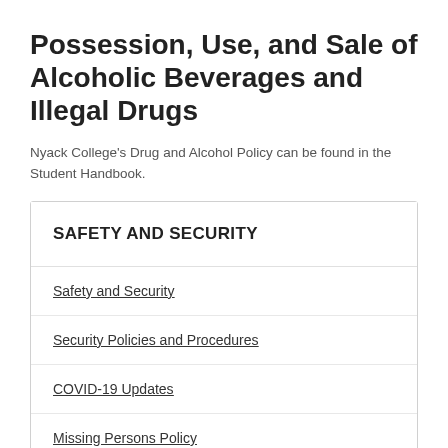Possession, Use, and Sale of Alcoholic Beverages and Illegal Drugs
Nyack College's Drug and Alcohol Policy can be found in the Student Handbook.
SAFETY AND SECURITY
Safety and Security
Security Policies and Procedures
COVID-19 Updates
Missing Persons Policy
Drug and Alcohol Policy and Prevention Program